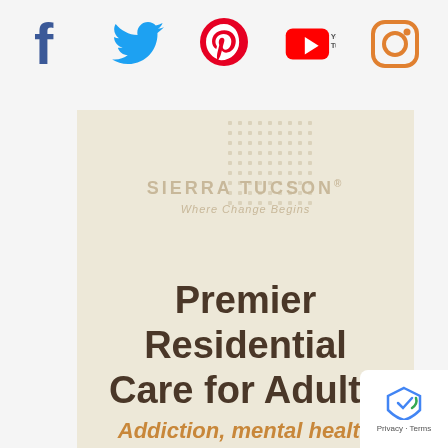[Figure (other): Row of social media icons: Facebook (blue), Twitter (blue bird), Pinterest (red), YouTube (red/black), Instagram (orange outline)]
[Figure (logo): Sierra Tucson logo with tagline 'Where Change Begins' on a beige card background with decorative dot grid pattern]
Premier Residential Care for Adults
Addiction, mental health